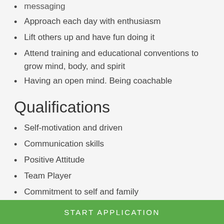messaging
Approach each day with enthusiasm
Lift others up and have fun doing it
Attend training and educational conventions to grow mind, body, and spirit
Having an open mind. Being coachable
Qualifications
Self-motivation and driven
Communication skills
Positive Attitude
Team Player
Commitment to self and family
Bi-lingual is a plus
START APPLICATION